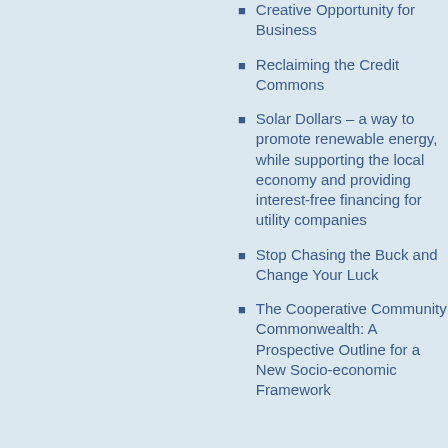Creative Opportunity for Business
Reclaiming the Credit Commons
Solar Dollars – a way to promote renewable energy, while supporting the local economy and providing interest-free financing for utility companies
Stop Chasing the Buck and Change Your Luck
The Cooperative Community Commonwealth: A Prospective Outline for a New Socio-economic Framework